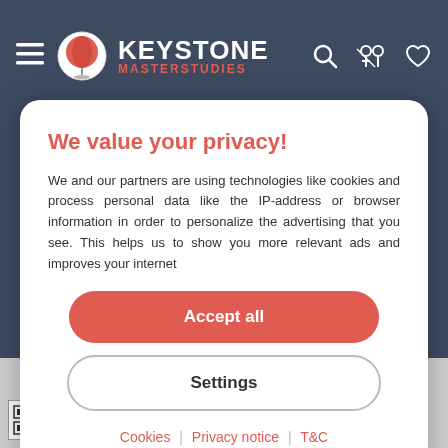[Figure (logo): Keystone Masterstudies logo with hamburger menu and header icons on dark blue-grey background]
We value your privacy!
We and our partners are using technologies like cookies and process personal data like the IP-address or browser information in order to personalize the advertising that you see. This helps us to show you more relevant ads and improves your internet
Accept all
Settings
Cookies | Privacy notice | T&C
MSc, or Master of Science, is an academic distinction owed upon those who effectively complete a